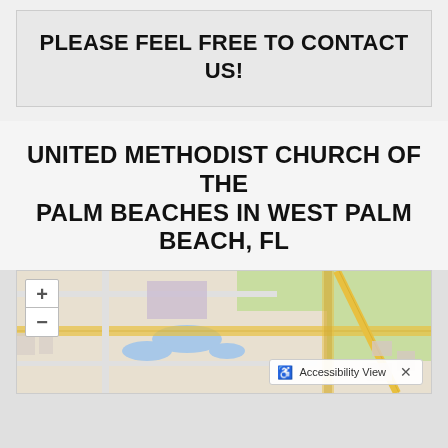PLEASE FEEL FREE TO CONTACT US!
UNITED METHODIST CHURCH OF THE PALM BEACHES IN WEST PALM BEACH, FL
[Figure (map): Google/Leaflet map showing the area around United Methodist Church of the Palm Beaches in West Palm Beach, FL. Map includes zoom controls (+/-) and an Accessibility View button at the bottom right.]